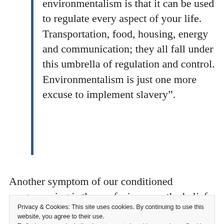environmentalism is that it can be used to regulate every aspect of your life. Transportation, food, housing, energy and communication; they all fall under this umbrella of regulation and control. Environmentalism is just one more excuse to implement slavery".
Another symptom of our conditioned programming is the confusion over the belief in
Privacy & Cookies: This site uses cookies. By continuing to use this website, you agree to their use.
To find out more, including how to control cookies, see here: Cookie Policy
angle on it: